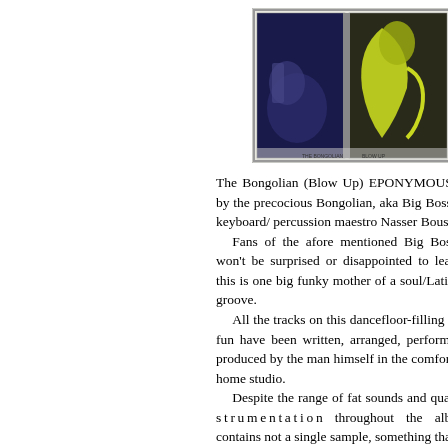[Figure (photo): Album cover image for The Bongolian, showing colorful illustrated panels with figures]
The Bongolian (Blow Up) EPONYMOUS debut by the precocious Bongolian, aka Big Boss Man's keyboard/ percussion maestro Nasser Bousida.
  Fans of the afore mentioned Big Boss Man won't be surprised or disappointed to learn that this is one big funky mother of a soul/Latin super groove.
  All the tracks on this dancefloor-filling slice of fun have been written, arranged, performed and produced by the man himself in the comfort of his home studio.
  Despite the range of fat sounds and quality i n s t r u m e n t a t i o n throughout the album it contains not a single sample, something that